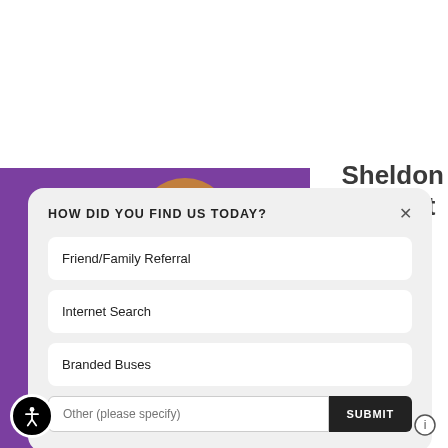[Figure (screenshot): Purple banner background with partial person head silhouette in brown/orange]
Sheldon Stewart
HOW DID YOU FIND US TODAY?
Friend/Family Referral
Internet Search
Branded Buses
Other (please specify)
SUBMIT